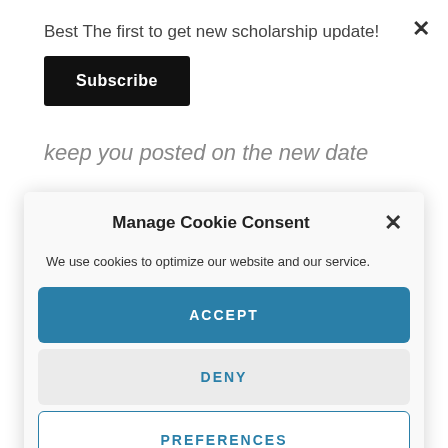Best The first to get new scholarship update!
Subscribe
keep you posted on the new date
Manage Cookie Consent
We use cookies to optimize our website and our service.
ACCEPT
DENY
PREFERENCES
Privacy Policy